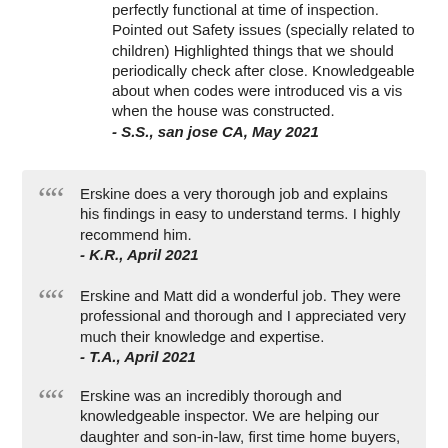perfectly functional at time of inspection. Pointed out Safety issues (specially related to children) Highlighted things that we should periodically check after close. Knowledgeable about when codes were introduced vis a vis when the house was constructed.
- S.S., san jose CA, May 2021
Erskine does a very thorough job and explains his findings in easy to understand terms. I highly recommend him.
- K.R., April 2021
Erskine and Matt did a wonderful job. They were professional and thorough and I appreciated very much their knowledge and expertise.
- T.A., April 2021
Erskine was an incredibly thorough and knowledgeable inspector. We are helping our daughter and son-in-law, first time home buyers, finance this house, and he spent a lot of time